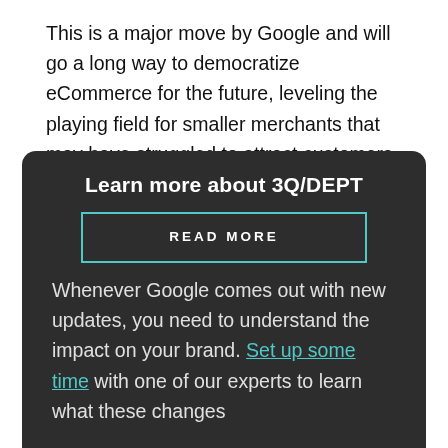This is a major move by Google and will go a long way to democratize eCommerce for the future, leveling the playing field for smaller merchants that may have struggled to attract customers through search in the past. And with so many consumers nowadays preferring to shop with businesses aligned with their values, it's even more important to make those brands more accessible to everyone.
Learn more about 3Q/DEPT
READ MORE
Whenever Google comes out with new updates, you need to understand the impact on your brand. Set up some time with one of our experts to learn what these changes